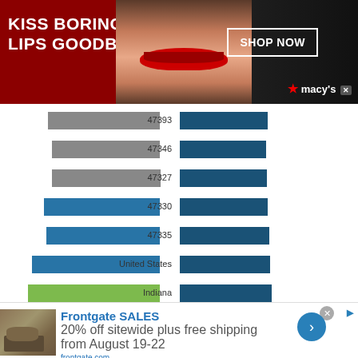[Figure (advertisement): Macy's advertisement: 'KISS BORING LIPS GOODBYE' with woman's face and red lips, SHOP NOW button, macy's star logo]
[Figure (bar-chart): Horizontal bar chart showing ZIP codes (47393, 47346, 47327, 47330, 47335), United States, Indiana, and Dayton-Springfield-Sidney with bars extending from center. Left side shows gray/blue/green bars, right side shows dark blue bars. X-axis shows 0% to 100% on left and 0% on right.]
[Figure (advertisement): Frontgate SALES advertisement: '20% off sitewide plus free shipping from August 19-22', frontgate.com, outdoor furniture photo, blue circle arrow button, X close button]